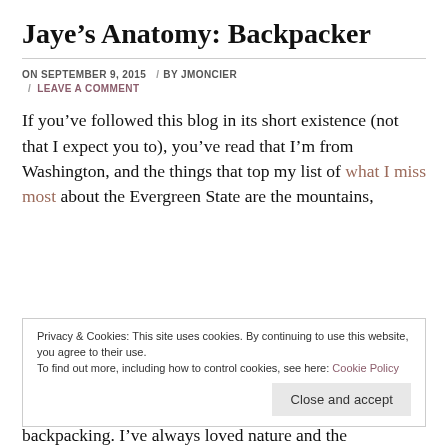Jaye's Anatomy: Backpacker
ON SEPTEMBER 9, 2015 / BY JMONCIER / LEAVE A COMMENT
If you've followed this blog in its short existence (not that I expect you to), you've read that I'm from Washington, and the things that top my list of what I miss most about the Evergreen State are the mountains,
Privacy & Cookies: This site uses cookies. By continuing to use this website, you agree to their use.
To find out more, including how to control cookies, see here: Cookie Policy
Close and accept
backpacking. I've always loved nature and the